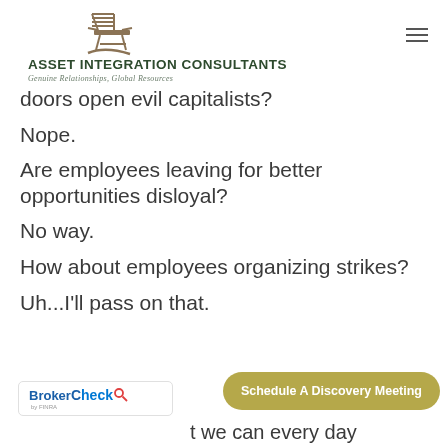[Figure (logo): Asset Integration Consultants logo with rocking chair illustration and tagline 'Genuine Relationships, Global Resources']
doors open evil capitalists?
Nope.
Are employees leaving for better opportunities disloyal?
No way.
How about employees organizing strikes?
Uh...I'll pass on that.
[Figure (logo): BrokerCheck by FINRA logo]
Schedule A Discovery Meeting
t we can every day